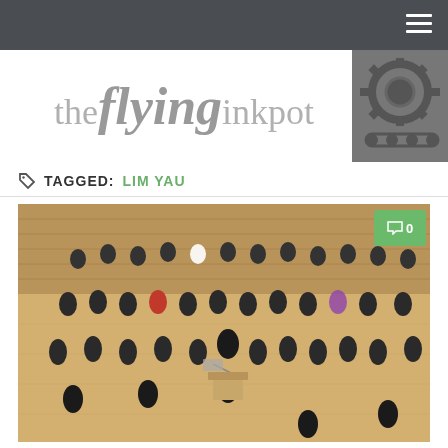the flying inkpot
TAGGED: LIM YAU
[Figure (photo): Orchestra group photo on stage in a concert hall with wood-paneled walls. Large ensemble of musicians in formal attire holding instruments. A conductor stands at center front. A green comment badge showing '0' is overlaid in the top-right corner of the photo.]